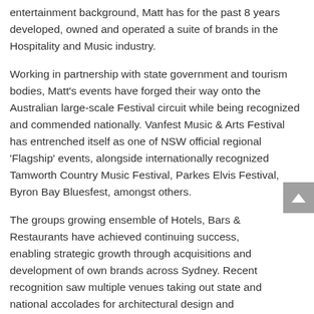entertainment background, Matt has for the past 8 years developed, owned and operated a suite of brands in the Hospitality and Music industry.
Working in partnership with state government and tourism bodies, Matt's events have forged their way onto the Australian large-scale Festival circuit while being recognized and commended nationally. Vanfest Music & Arts Festival has entrenched itself as one of NSW official regional 'Flagship' events, alongside internationally recognized Tamworth Country Music Festival, Parkes Elvis Festival, Byron Bay Bluesfest, amongst others.
The groups growing ensemble of Hotels, Bars & Restaurants have achieved continuing success, enabling strategic growth through acquisitions and development of own brands across Sydney. Recent recognition saw multiple venues taking out state and national accolades for architectural design and offerings, while also being represented on the world stage at the Restaurant & Bar Awards in London for Best New Hospitality Design globally.
In late 2018 Matt spearheaded the design and delivery of a startup, NODxPODS; an innovative world patented-design